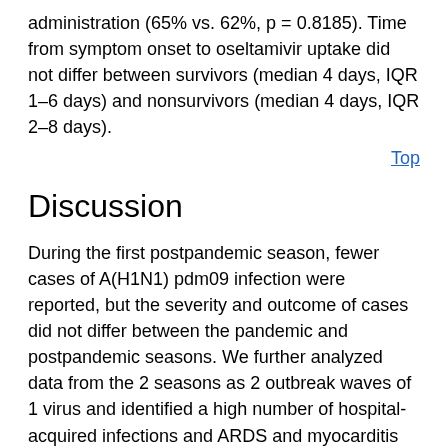administration (65% vs. 62%, p = 0.8185). Time from symptom onset to oseltamivir uptake did not differ between survivors (median 4 days, IQR 1–6 days) and nonsurvivors (median 4 days, IQR 2–8 days).
Top
Discussion
During the first postpandemic season, fewer cases of A(H1N1) pdm09 infection were reported, but the severity and outcome of cases did not differ between the pandemic and postpandemic seasons. We further analyzed data from the 2 seasons as 2 outbreak waves of 1 virus and identified a high number of hospital-acquired infections and ARDS and myocarditis as 2 predictors for a fatal outcome.